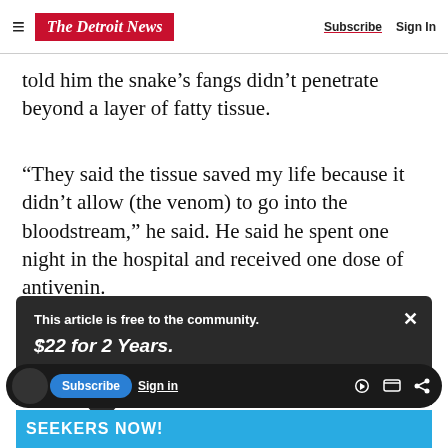The Detroit News — Subscribe | Sign In
told him the snake’s fangs didn’t penetrate beyond a layer of fatty tissue.
“They said the tissue saved my life because it didn’t allow (the venom) to go into the bloodstream,” he said. He said he spent one night in the hospital and received one dose of antivenin.
This article is free to the community.
$22 for 2 Years.
Subscribe now